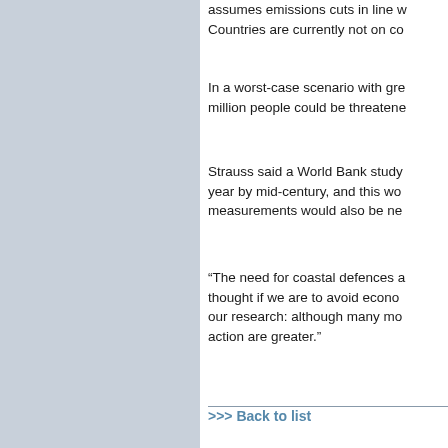assumes emissions cuts in line w… Countries are currently not on co…
In a worst-case scenario with gre… million people could be threatene…
Strauss said a World Bank study… year by mid-century, and this wo… measurements would also be ne…
“The need for coastal defences a… thought if we are to avoid econo… our research: although many mo… action are greater.”
>>> Back to list